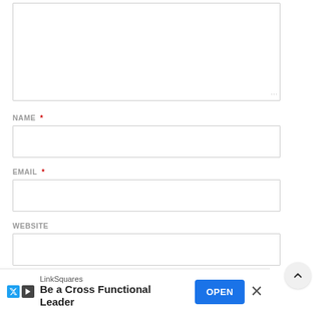[Figure (screenshot): Textarea input box (comment field) with resize handle at bottom-right corner]
NAME *
[Figure (screenshot): Name input text field, empty]
EMAIL *
[Figure (screenshot): Email input text field, empty]
WEBSITE
[Figure (screenshot): Website input text field, empty]
SAVE MY NAME, EMAIL, AND WEBSITE IN THIS BROWSER FOR
[Figure (screenshot): Advertisement banner: LinkSquares - Be a Cross Functional Leader, with OPEN button and close X]